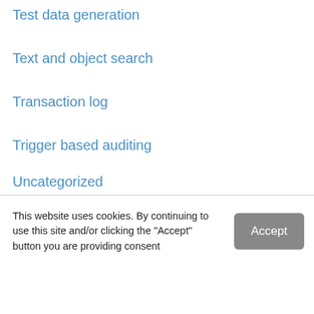Test data generation
Text and object search
Transaction log
Trigger based auditing
Uncategorized
This website uses cookies. By continuing to use this site and/or clicking the "Accept" button you are providing consent
Quest Software and its affiliates do NOT sell the Personal Data you provide to us either when you register on our websites or when you do business with us. For more information about our Privacy Policy and our data protection efforts, please visit GDPR-HQ